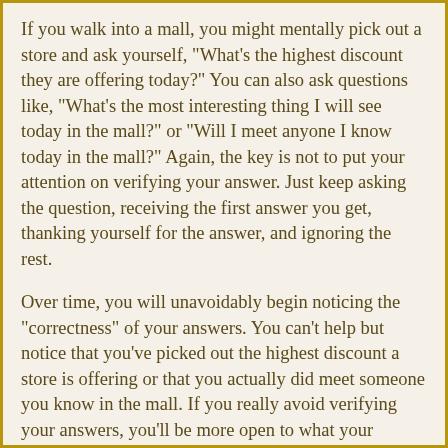If you walk into a mall, you might mentally pick out a store and ask yourself, "What's the highest discount they are offering today?" You can also ask questions like, "What's the most interesting thing I will see today in the mall?" or "Will I meet anyone I know today in the mall?" Again, the key is not to put your attention on verifying your answer. Just keep asking the question, receiving the first answer you get, thanking yourself for the answer, and ignoring the rest.
Over time, you will unavoidably begin noticing the "correctness" of your answers. You can't help but notice that you've picked out the highest discount a store is offering or that you actually did meet someone you know in the mall. If you really avoid verifying your answers, you'll be more open to what your psychic abilities tell you (rather than hearing all your own doubtful mind chatter). You will begin to notice how "right on" your abilities are--if you can actually avoid verification of your answers early on in the process.
The "art of ignoring" or selective perception is one of the key principles in magic and in developing your psychic abilities. By regularly choosing to ignore information, they are...